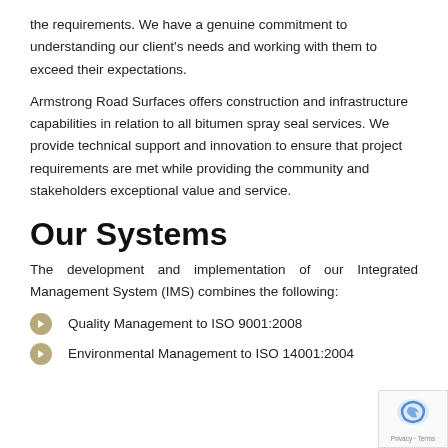the requirements. We have a genuine commitment to understanding our client's needs and working with them to exceed their expectations.
Armstrong Road Surfaces offers construction and infrastructure capabilities in relation to all bitumen spray seal services. We provide technical support and innovation to ensure that project requirements are met while providing the community and stakeholders exceptional value and service.
Our Systems
The development and implementation of our Integrated Management System (IMS) combines the following:
Quality Management to ISO 9001:2008
Environmental Management to ISO 14001:2004